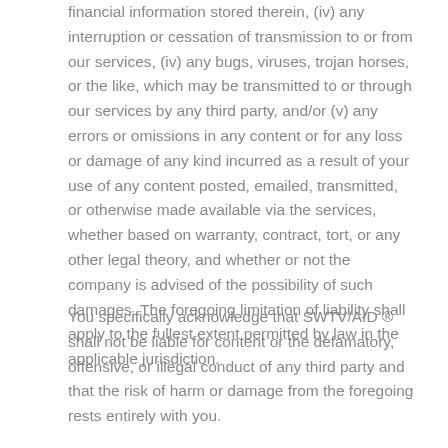financial information stored therein, (iv) any interruption or cessation of transmission to or from our services, (iv) any bugs, viruses, trojan horses, or the like, which may be transmitted to or through our services by any third party, and/or (v) any errors or omissions in any content or for any loss or damage of any kind incurred as a result of your use of any content posted, emailed, transmitted, or otherwise made available via the services, whether based on warranty, contract, tort, or any other legal theory, and whether or not the company is advised of the possibility of such damages. The foregoing limitation of liability shall apply to the fullest extent permitted by law in the applicable jurisdiction.
You specifically acknowledge that SWTV/AID ® shall not be liable for content or the defamatory, offensive, or illegal conduct of any third party and that the risk of harm or damage from the foregoing rests entirely with you.